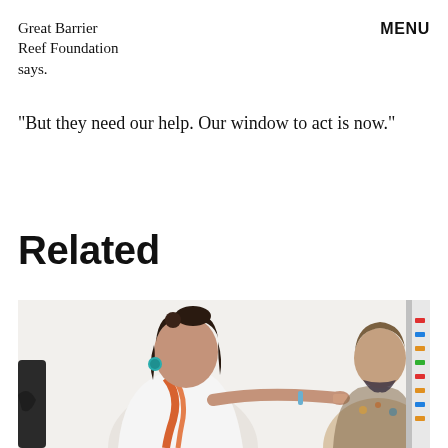Great Barrier Reef Foundation says.
MENU
“But they need our help. Our window to act is now.”
Related
[Figure (photo): Two women in a meeting room. The woman in the foreground wears a white shirt with an orange scarf and teal earrings, pointing at something off-frame to the right. The second woman stands behind her wearing a patterned top. On the right edge, a whiteboard or display with colorful markers/magnets is partially visible.]